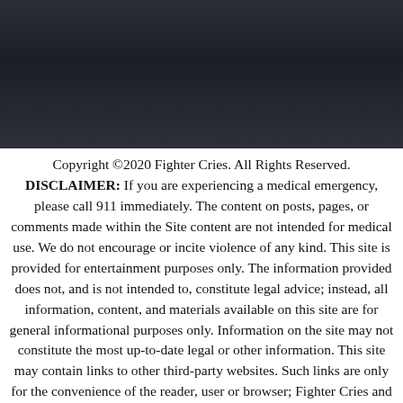[Figure (photo): Dark moody background image, appears to be a dark textured surface or shadowy scene.]
Copyright ©2020 Fighter Cries. All Rights Reserved. DISCLAIMER: If you are experiencing a medical emergency, please call 911 immediately. The content on posts, pages, or comments made within the Site content are not intended for medical use. We do not encourage or incite violence of any kind. This site is provided for entertainment purposes only. The information provided does not, and is not intended to, constitute legal advice; instead, all information, content, and materials available on this site are for general informational purposes only. Information on the site may not constitute the most up-to-date legal or other information. This site may contain links to other third-party websites. Such links are only for the convenience of the reader, user or browser; Fighter Cries and its members do not recommend or endorse the contents of the third-party sites. Readers of this site